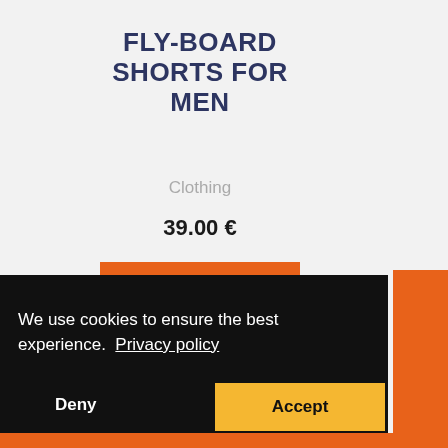FLY-BOARD SHORTS FOR MEN
Clothing
39.00 €
SELECT OPTIONS
We use cookies to ensure the best experience.  Privacy policy
Deny
Accept